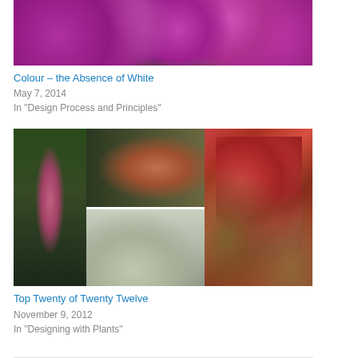[Figure (photo): Close-up photo of pink/purple lilac flowers with green leaves in background]
Colour – the Absence of White
May 7, 2014
In "Design Process and Principles"
[Figure (photo): Three-panel image collage: left - weeping tree with pink spring blossoms, top right - weeping tree covered in snow in winter, bottom right - weeping tree in snowy landscape]
[Figure (photo): Close-up of red crabapple berries on branches with autumn-colored leaves]
Top Twenty of Twenty Twelve
November 9, 2012
In "Designing with Plants"